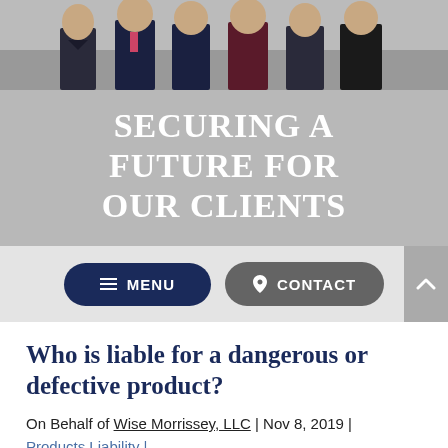[Figure (photo): Group photo of several attorneys/professionals in formal business attire standing together against a light background.]
SECURING A FUTURE FOR OUR CLIENTS
≡ MENU
⚲ CONTACT
Who is liable for a dangerous or defective product?
On Behalf of Wise Morrissey, LLC | Nov 8, 2019 |
Products Liability |